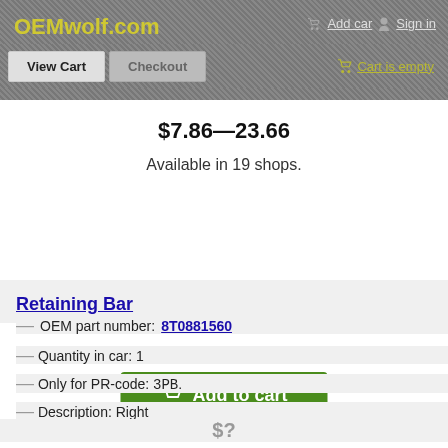OEMwolf.com | Add car | Sign in
View Cart | Checkout | Cart is empty
$7.86—23.66
Available in 19 shops.
Add to cart
Retaining Bar
OEM part number: 8T0881560
Quantity in car: 1
Only for PR-code: 3PB.
Description: Right
$?